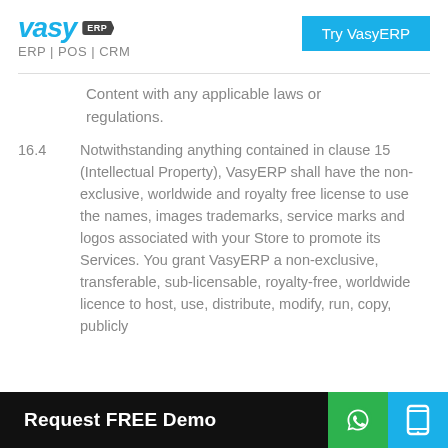VasyERP | ERP | POS | CRM
Content with any applicable laws or regulations.
16.4  Notwithstanding anything contained in clause 15 (Intellectual Property), VasyERP shall have the non-exclusive, worldwide and royalty free license to use the names, images trademarks, service marks and logos associated with your Store to promote its Services. You grant VasyERP a non-exclusive, transferable, sub-licensable, royalty-free, worldwide licence to host, use, distribute, modify, run, copy, publicly
Request FREE Demo